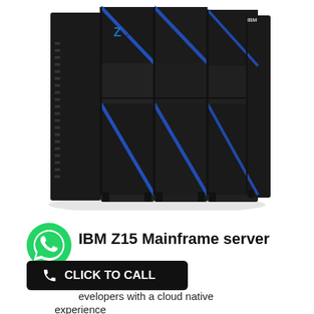[Figure (photo): IBM Z15 Mainframe server — a large black server rack with blue accent diagonal lines across four cabinet columns]
[Figure (logo): WhatsApp green phone icon logo]
IBM Z15 Mainframe server
CLICK TO CALL
developers with a cloud native experience